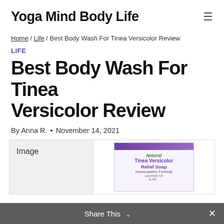Yoga Mind Body Life
Home / Life / Best Body Wash For Tinea Versicolor Review
LIFE
Best Body Wash For Tinea Versicolor Review
By Anna R.  •  November 14, 2021
[Figure (photo): Product table showing a Tinea Versicolor Relief Soap box — a homeopathic formula product with purple and white packaging, branded with a natural/herbal logo. The table has an 'Image' label on the left grey cell and the product image on the right.]
Share This